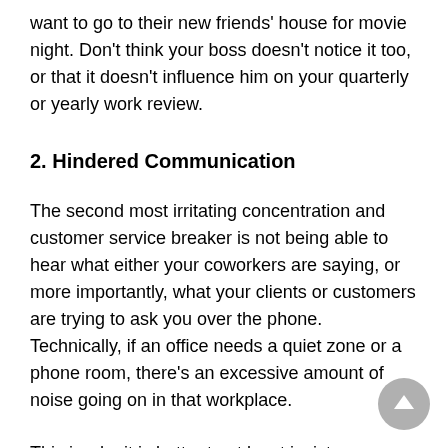want to go to their new friends' house for movie night. Don't think your boss doesn't notice it too, or that it doesn't influence him on your quarterly or yearly work review.
2. Hindered Communication
The second most irritating concentration and customer service breaker is not being able to hear what either your coworkers are saying, or more importantly, what your clients or customers are trying to ask you over the phone. Technically, if an office needs a quiet zone or a phone room, there's an excessive amount of noise going on in that workplace.
This is why it is better to at least insist on upholding some sort of moderate noise level. No one expects total silence in a busy office, but there should be some